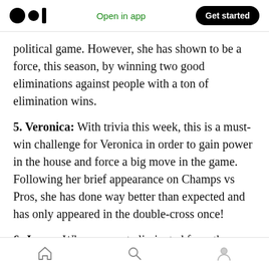Open in app | Get started
political game. However, she has shown to be a force, this season, by winning two good eliminations against people with a ton of elimination wins.
5. Veronica: With trivia this week, this is a must-win challenge for Veronica in order to gain power in the house and force a big move in the game. Following her brief appearance on Champs vs Pros, she has done way better than expected and has only appeared in the double-cross once!
6. Jenna: When you get eliminated from the
Home | Search | Profile